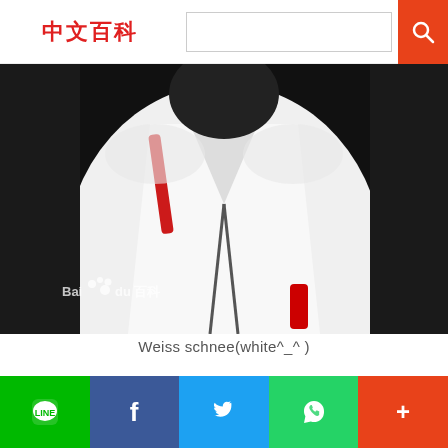中文百科 [search bar] [search button]
[Figure (photo): Close-up photo of a white costume/outfit with black and red accents, with Baidu watermark overlay at bottom left]
Weiss schnee(white^_^ )
[Figure (other): Expand/collapse button with two vertical bars icon]
Social share bar: LINE, Facebook, Twitter, WhatsApp, More